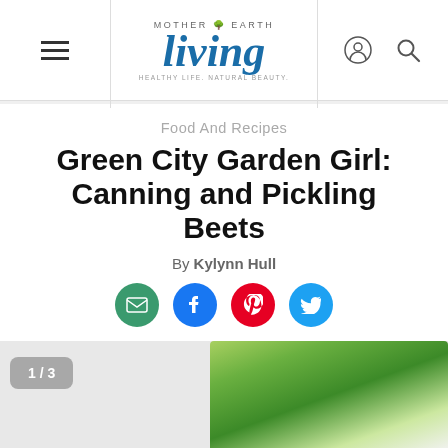Mother Earth Living — Navigation header with logo and icons
Food And Recipes
Green City Garden Girl: Canning and Pickling Beets
By Kylynn Hull
[Figure (other): Social sharing icons: email (green), Facebook (blue), Pinterest (red), Twitter (blue)]
[Figure (photo): Partial photo of green plant stems/beets with image counter overlay showing 1 / 3]